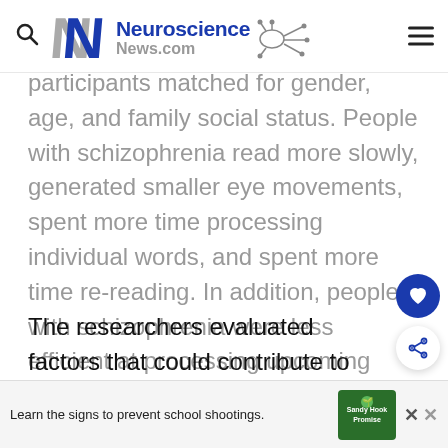Neuroscience News.com
participants matched for gender, age, and family social status. People with schizophrenia read more slowly, generated smaller eye movements, spent more time processing individual words, and spent more time re-reading. In addition, people with schizophrenia were less efficient at processing upcoming words to facilitate reading.
The researchers evaluated factors that could contribute to the problems in reading fluency and
[Figure (other): Advertisement banner: Learn the signs to prevent school shootings. Sandy Hook Promise logo.]